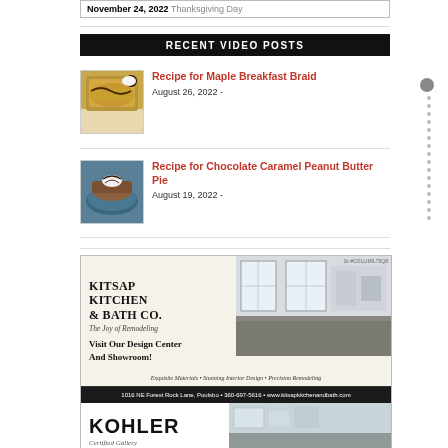November 24, 2022  Thanksgiving Day
RECENT VIDEO POSTS
[Figure (photo): Maple breakfast braid pastry on white plate]
Recipe for Maple Breakfast Braid
August 26, 2022 -
[Figure (photo): Chocolate caramel peanut butter pie on blue plate]
Recipe for Chocolate Caramel Peanut Butter Pie
August 19, 2022 -
[Figure (other): Kitsap Kitchen & Bath Co. advertisement. The Joy of Remodeling. Visit Our Design Center And Showroom! Exquisite Materials • Stunning Interior Design • Precision Remodeling. 1016 NE Forest Rock Lane, Poulsbo • 360-697-5616 • www.kitsapkitchenandbath.com]
[Figure (other): Kohler advertisement, partial view at bottom of page]